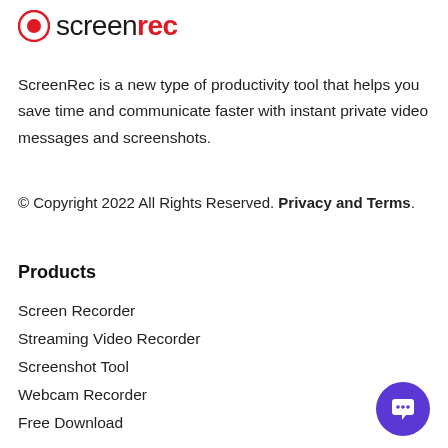[Figure (logo): ScreenRec logo with red record button icon and text 'screenrec' where 'rec' is in red bold]
ScreenRec is a new type of productivity tool that helps you save time and communicate faster with instant private video messages and screenshots.
© Copyright 2022 All Rights Reserved. Privacy and Terms.
Products
Screen Recorder
Streaming Video Recorder
Screenshot Tool
Webcam Recorder
Free Download
[Figure (illustration): Purple circular chat/support button with white speech bubble icon in bottom right corner]